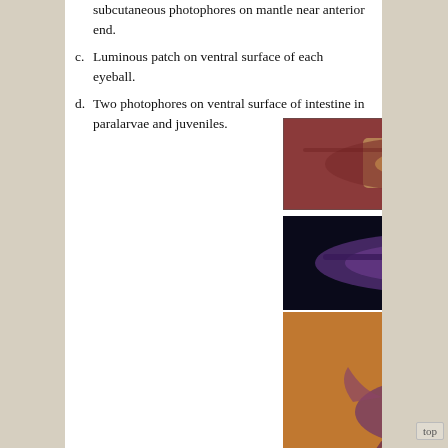subcutaneous photophores on mantle near anterior end.
c. Luminous patch on ventral surface of each eyeball.
d. Two photophores on ventral surface of intestine in paralarvae and juveniles.
[Figure (photo): Close-up photo of squid dorsal view showing reddish-brown coloration with light patch]
[Figure (photo): Side view of squid with dark purple coloration against black background]
[Figure (photo): Squid specimen on orange/brown surface showing tentacles and mantle]
[Figure (photo): Partial view of squid eggs or spawn on yellow-green background]